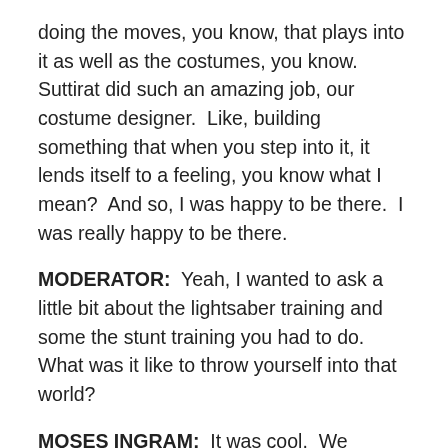doing the moves, you know, that plays into it as well as the costumes, you know.  Suttirat did such an amazing job, our costume designer.  Like, building something that when you step into it, it lends itself to a feeling, you know what I mean?  And so, I was happy to be there.  I was really happy to be there.
MODERATOR:  Yeah, I wanted to ask a little bit about the lightsaber training and some the stunt training you had to do.  What was it like to throw yourself into that world?
MOSES INGRAM:  It was cool.  We trained for about four months before we ever even got to set.  The everyday, regular strength and cardio, and then three days a week of Jedi school on top of that which, at the beginning was a little intimidating because I come in.  We're doing lightsaber work and, of course, he's being doing this for years.  So he's like, flipping